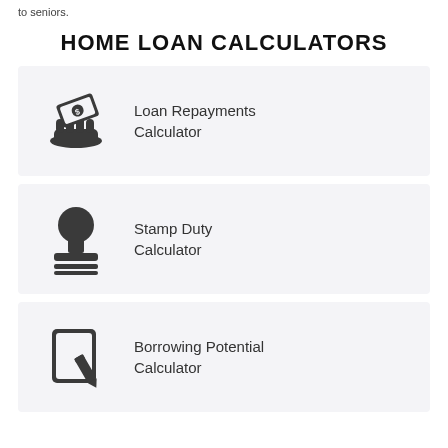to seniors.
HOME LOAN CALCULATORS
Loan Repayments Calculator
Stamp Duty Calculator
Borrowing Potential Calculator